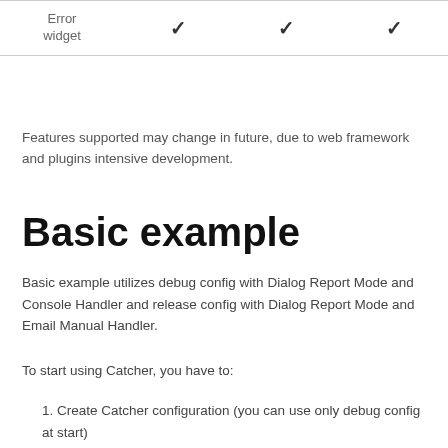|  |  |  |  |
| --- | --- | --- | --- |
| Error
widget | ✓ | ✓ | ✓ |
Features supported may change in future, due to web framework and plugins intensive development.
Basic example
Basic example utilizes debug config with Dialog Report Mode and Console Handler and release config with Dialog Report Mode and Email Manual Handler.
To start using Catcher, you have to:
Create Catcher configuration (you can use only debug config at start)